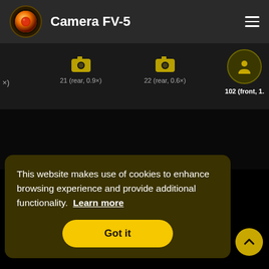Camera FV-5
[Figure (screenshot): Camera tab icons showing camera selections: rear 0.9x (21), rear 0.6x (22), front 1.x (102), with the last one highlighted in a circle]
This website makes use of cookies to enhance browsing experience and provide additional functionality. Learn more
Got it